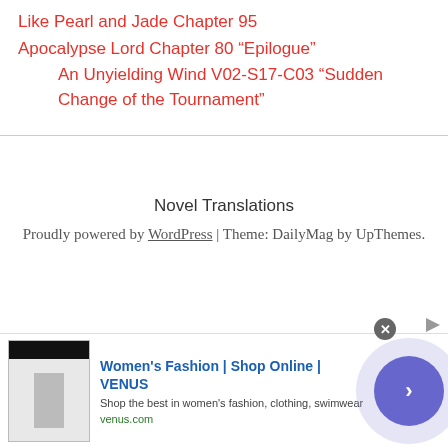Like Pearl and Jade Chapter 95
Apocalypse Lord Chapter 80 “Epilogue”
An Unyielding Wind V02-S17-C03 “Sudden Change of the Tournament”
Novel Translations
Proudly powered by WordPress | Theme: DailyMag by UpThemes.
[Figure (other): Advertisement banner for Women's Fashion at venus.com. Shows a thumbnail of a fashion website, bold blue text 'Women's Fashion | Shop Online | VENUS', description 'Shop the best in women's fashion, clothing, swimwear', URL 'venus.com', a purple arrow circle button, and a close (x) button.]